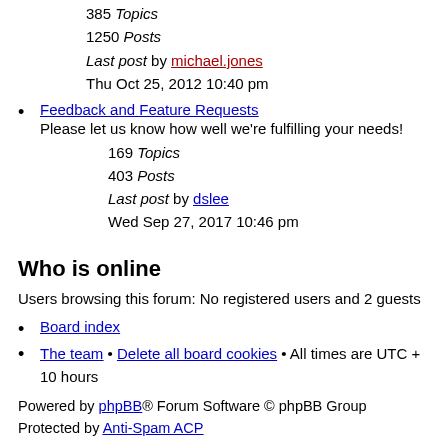385 Topics
1250 Posts
Last post by michael.jones
Thu Oct 25, 2012 10:40 pm
Feedback and Feature Requests
Please let us know how well we're fulfilling your needs!
169 Topics
403 Posts
Last post by dslee
Wed Sep 27, 2017 10:46 pm
Who is online
Users browsing this forum: No registered users and 2 guests
Board index
The team • Delete all board cookies • All times are UTC + 10 hours
Powered by phpBB® Forum Software © phpBB Group
Protected by Anti-Spam ACP